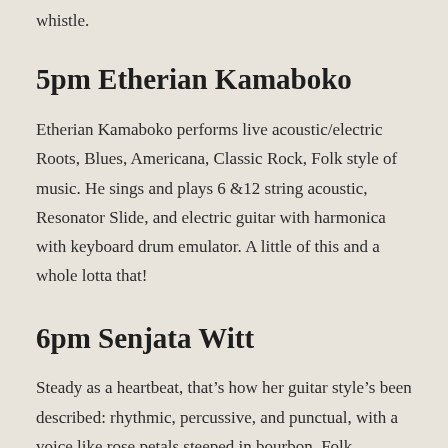whistle.
5pm Etherian Kamaboko
Etherian Kamaboko performs live acoustic/electric Roots, Blues, Americana, Classic Rock, Folk style of music. He sings and plays 6 &12 string acoustic, Resonator Slide, and electric guitar with harmonica with keyboard drum emulator. A little of this and a whole lotta that!
6pm Senjata Witt
Steady as a heartbeat, that’s how her guitar style’s been described: rhythmic, percussive, and punctual, with a voice like rose petals steeped in bourbon. Folk,